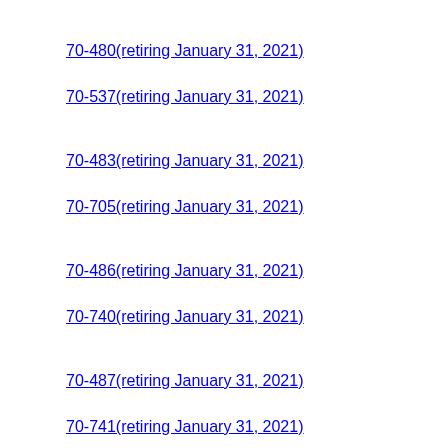70-480(retiring January 31, 2021)
70-483(retiring January 31, 2021)
70-486(retiring January 31, 2021)
70-487(retiring January 31, 2021)
70-537(retiring January 31, 2021)
70-705(retiring January 31, 2021)
70-740(retiring January 31, 2021)
70-741(retiring January 31, 2021)
70-742(retiring January 31, 2021)
70-743(retiring January 31, 2021)